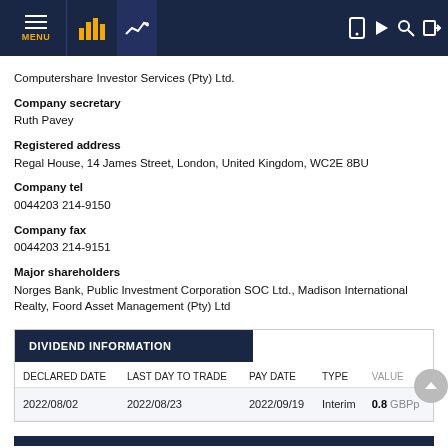MENU [navigation bar with icons]
Computershare Investor Services (Pty) Ltd.
Company secretary
Ruth Pavey
Registered address
Regal House, 14 James Street, London, United Kingdom, WC2E 8BU
Company tel
0044203 214-9150
Company fax
0044203 214-9151
Major shareholders
Norges Bank, Public Investment Corporation SOC Ltd., Madison International Realty, Foord Asset Management (Pty) Ltd
| DIVIDEND INFORMATION |  |  |  |  |
| --- | --- | --- | --- | --- |
| DECLARED DATE | LAST DAY TO TRADE | PAY DATE | TYPE | VALUE |
| 2022/08/02 | 2022/08/23 | 2022/09/19 | Interim | 0.8 GBPp |